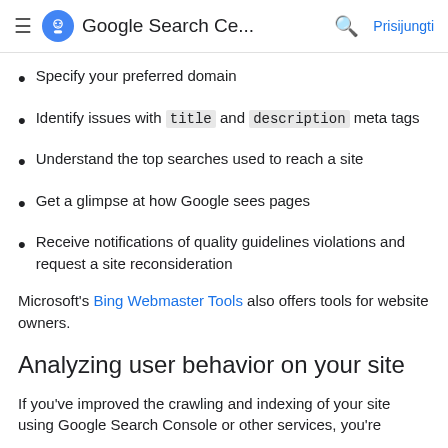Google Search Ce... Prisijungti
Specify your preferred domain
Identify issues with title and description meta tags
Understand the top searches used to reach a site
Get a glimpse at how Google sees pages
Receive notifications of quality guidelines violations and request a site reconsideration
Microsoft's Bing Webmaster Tools also offers tools for website owners.
Analyzing user behavior on your site
If you've improved the crawling and indexing of your site using Google Search Console or other services, you're